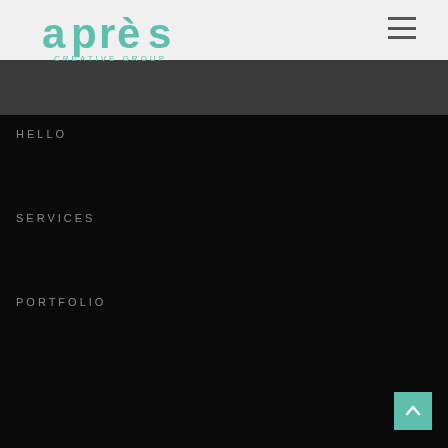après creative group — navigation header
[Figure (logo): Après Creative Group logo — stylized teal/mint green lettering with accent grave over the e, subtitle CREATIVE GROUP in small caps]
HELLO
SERVICES
PORTFOLIO